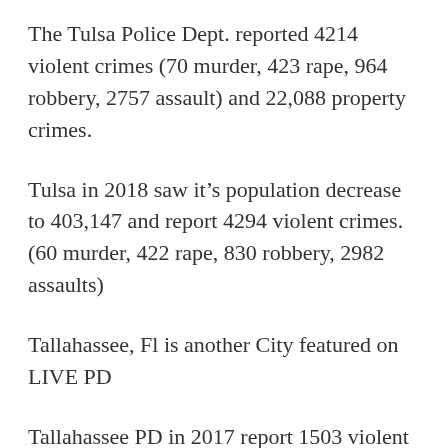The Tulsa Police Dept. reported 4214 violent crimes (70 murder, 423 rape, 964 robbery, 2757 assault) and 22,088 property crimes.
Tulsa in 2018 saw it’s population decrease to 403,147 and report 4294 violent crimes. (60 murder, 422 rape, 830 robbery, 2982 assaults)
Tallahassee, Fl is another City featured on LIVE PD
Tallahassee PD in 2017 report 1503 violent crimes (17 murder, 190 rape, 348 robbery, 948 assault) and 9428 property crimes.  The